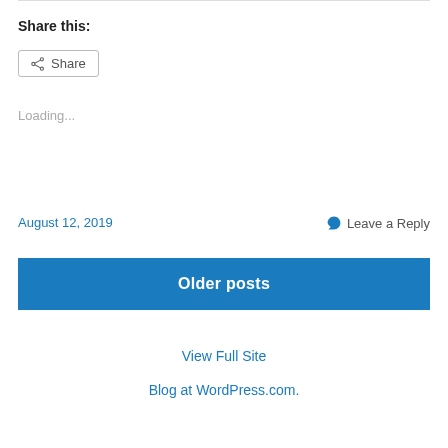Share this:
Share
Loading...
August 12, 2019
Leave a Reply
Older posts
View Full Site
Blog at WordPress.com.